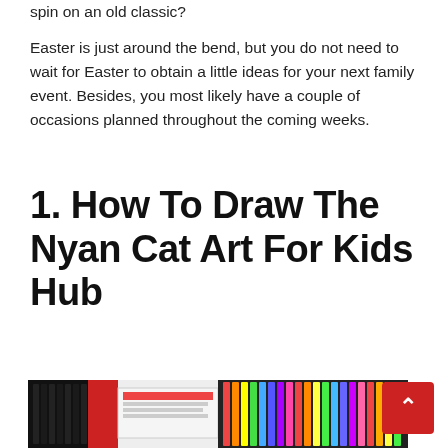spin on an old classic?
Easter is just around the bend, but you do not need to wait for Easter to obtain a little ideas for your next family event. Besides, you most likely have a couple of occasions planned throughout the coming weeks.
1. How To Draw The Nyan Cat Art For Kids Hub
[Figure (photo): Partial view of art supplies including markers and colored pencils on a red background]